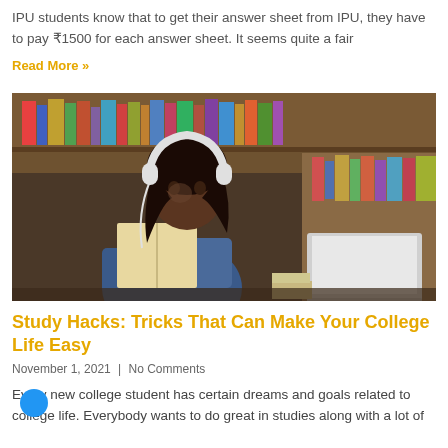IPU students know that to get their answer sheet from IPU, they have to pay ₹1500 for each answer sheet. It seems quite a fair
Read More »
[Figure (photo): A young woman with headphones sitting at a desk in a library, reading a book with a laptop open beside her, surrounded by bookshelves.]
Study Hacks: Tricks That Can Make Your College Life Easy
November 1, 2021 | No Comments
Every new college student has certain dreams and goals related to college life. Everybody wants to do great in studies along with a lot of